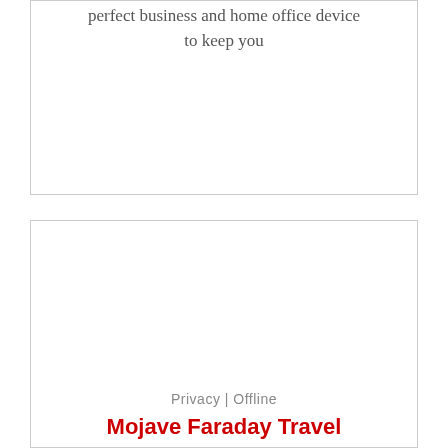perfect business and home office device to keep you
[Figure (photo): A black Faraday travel case/pouch with zipper, a smartwatch, a red credit card, a US passport, and a smartphone displaying colorful charts, all arranged on a white wooden surface.]
Privacy | Offline
Mojave Faraday Travel Case